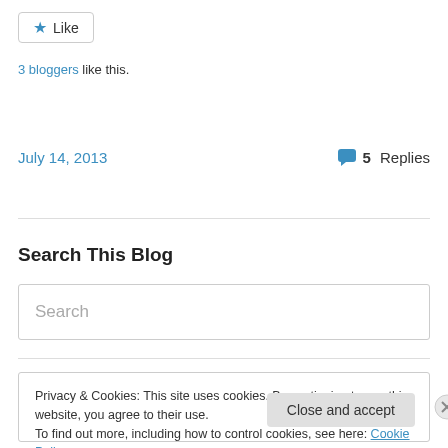[Figure (other): Like button with star icon]
3 bloggers like this.
July 14, 2013   💬 5 Replies
Search This Blog
Search (input box placeholder)
Privacy & Cookies: This site uses cookies. By continuing to use this website, you agree to their use.
To find out more, including how to control cookies, see here: Cookie Policy
Close and accept